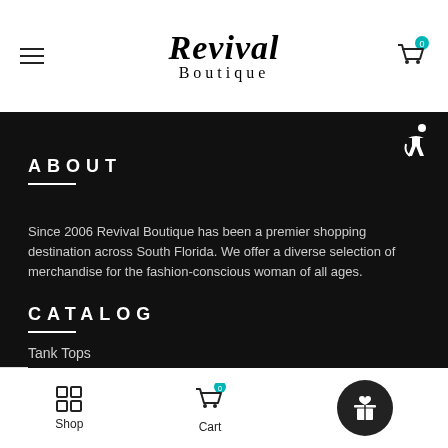Revival Boutique
ABOUT
Since 2006 Revival Boutique has been a premier shopping destination across South Florida. We offer a diverse selection of merchandise for the fashion-conscious woman of all ages.
CATALOG
Denim
Tops
Tank Tops
Shop  Cart